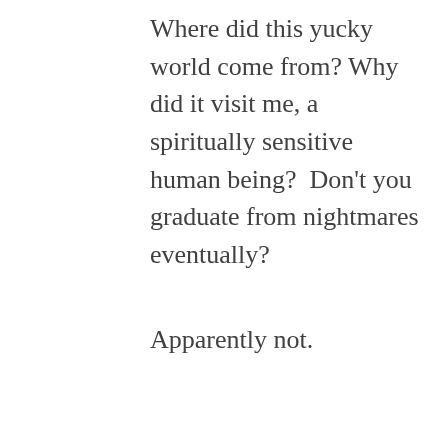Where did this yucky world come from? Why did it visit me, a spiritually sensitive human being?  Don't you graduate from nightmares eventually?
Apparently not.
Share this:
[Figure (other): Twitter and Facebook share buttons]
Loading...